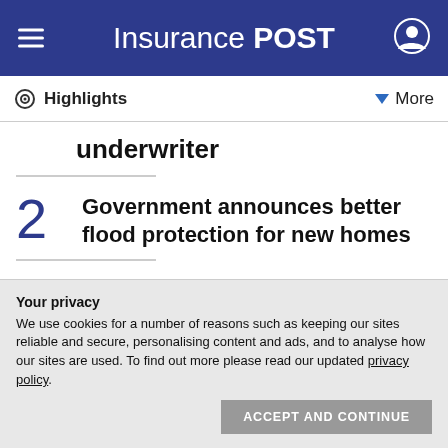Insurance POST
Highlights
underwriter
2 Government announces better flood protection for new homes
3 Marsh launches hydrogen product; Seventeen Group makes two acquisitions...
Your privacy
We use cookies for a number of reasons such as keeping our sites reliable and secure, personalising content and ads, and to analyse how our sites are used. To find out more please read our updated privacy policy.
ACCEPT AND CONTINUE